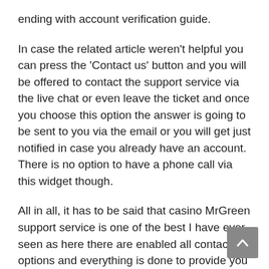ending with account verification guide.
In case the related article weren't helpful you can press the 'Contact us' button and you will be offered to contact the support service via the live chat or even leave the ticket and once you choose this option the answer is going to be sent to you via the email or you will get just notified in case you already have an account. There is no option to have a phone call via this widget though.
All in all, it has to be said that casino MrGreen support service is one of the best I have ever seen as here there are enabled all contacting options and everything is done to provide you a clear and transparent explanation on the services, terms and conditions.